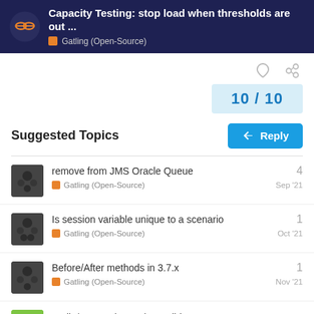Capacity Testing: stop load when thresholds are out ... — Gatling (Open-Source)
10 / 10
Suggested Topics
remove from JMS Oracle Queue — Gatling (Open-Source) — Sep '21 — 4
Is session variable unique to a scenario — Gatling (Open-Source) — Oct '21 — 1
Before/After methods in 3.7.x — Gatling (Open-Source) — Nov '21 — 1
Kotlin/Java Using Action Builder ...